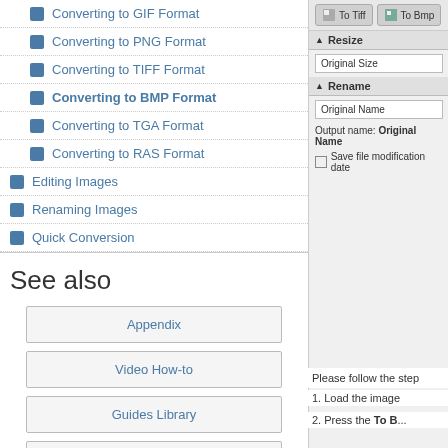Converting to GIF Format
Converting to PNG Format
Converting to TIFF Format
Converting to BMP Format
Converting to TGA Format
Converting to RAS Format
Editing Images
Renaming Images
Quick Conversion
See also
Appendix
Video How-to
Guides Library
Contact Support
[Figure (screenshot): Software panel showing To Tiff and To Bmp buttons, Resize section with Original Size field, and Rename section with Original Name field, Output name: Original Name, and Save file modification date checkbox]
Please follow the step
1. Load the image
2. Press the To B...